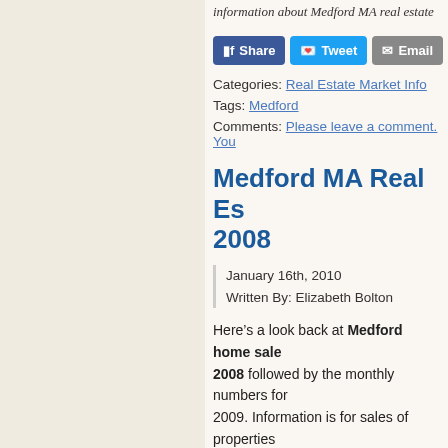information about Medford MA real estate
[Figure (screenshot): Social sharing buttons: Share (Facebook), Tweet (Twitter), Email, Share (green)]
Categories: Real Estate Market Info
Tags: Medford
Comments: Please leave a comment. You
Medford MA Real Es... 2008
January 16th, 2010
Written By: Elizabeth Bolton
Here's a look back at Medford home sale... 2008 followed by the monthly numbers for... 2009. Information is for sales of properties... MLS, the Multiple Listing System.
There was a slight uptick in total prope... those numbers.